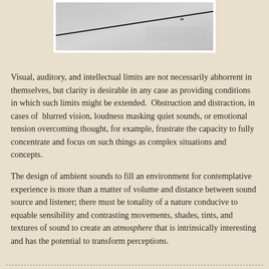[Figure (photo): Close-up photo of a thin dark diagonal line or wire against a light grey textured surface, shown inside a white-bordered frame.]
Visual, auditory, and intellectual limits are not necessarily abhorrent in themselves, but clarity is desirable in any case as providing conditions in which such limits might be extended.  Obstruction and distraction, in cases of  blurred vision, loudness masking quiet sounds, or emotional tension overcoming thought, for example, frustrate the capacity to fully concentrate and focus on such things as complex situations and concepts.
The design of ambient sounds to fill an environment for contemplative experience is more than a matter of volume and distance between sound source and listener; there must be tonality of a nature conducive to equable sensibility and contrasting movements, shades, tints, and textures of sound to create an atmosphere that is intrinsically interesting and has the potential to transform perceptions.